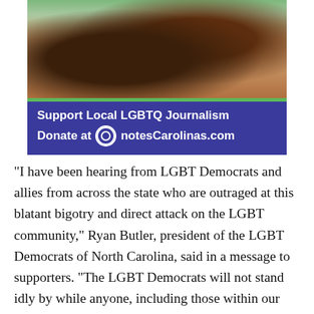[Figure (photo): Advertisement banner for QnotesCarolinas.com featuring two Black women posing together outdoors, with green and purple banner below reading 'Support Local LGBTQ Journalism / Donate at QnotesCarolinas.com']
“I have been hearing from LGBT Democrats and allies from across the state who are outraged at this blatant bigotry and direct attack on the LGBT community,” Ryan Butler, president of the LGBT Democrats of North Carolina, said in a message to supporters. “The LGBT Democrats will not stand idly by while anyone, including those within our own party, fosters discrimination and prejudice. We will continue to speak out and condemn these